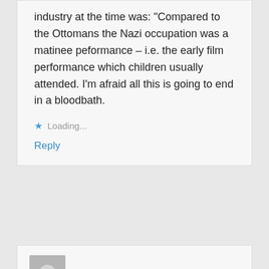industry at the time was: "Compared to the Ottomans the Nazi occupation was a matinee peformance – i.e. the early film performance which children usually attended. I'm afraid all this is going to end in a bloodbath.
★ Loading...
Reply
M.H. D. says